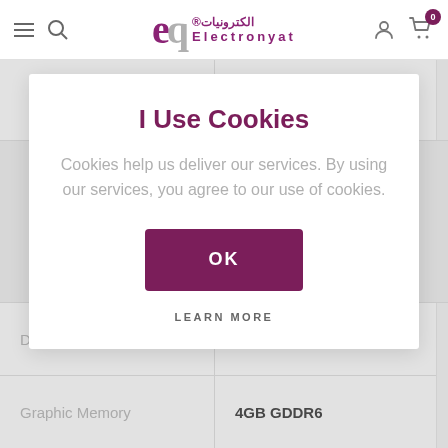[Figure (screenshot): Electronyat e-commerce website header with logo, hamburger menu, search icon, user icon, and cart icon with 0 badge]
|  | 6 E-cores) |
I Use Cookies
Cookies help us deliver our services. By using our services, you agree to our use of cookies.
OK
LEARN MORE
| Discrete/Optimus | MUX Switch + Optimus |
| Graphic Memory | 4GB GDDR6 |